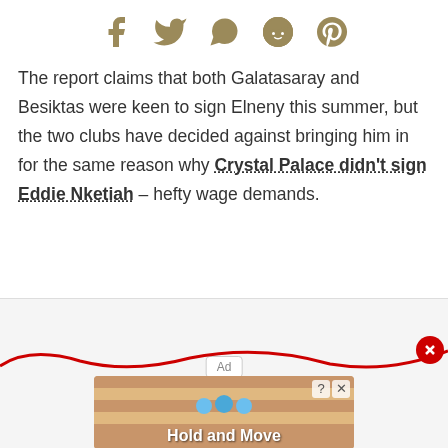[Figure (other): Social media sharing icons: Facebook, Twitter, WhatsApp, Reddit, Pinterest in olive/gold color]
The report claims that both Galatasaray and Besiktas were keen to sign Elneny this summer, but the two clubs have decided against bringing him in for the same reason why Crystal Palace didn't sign Eddie Nketiah – hefty wage demands.
[Figure (other): Advertisement area with 'Ad' label, a red wavy line at the bottom, and a close button. Below shows a 'Hold and Move' game advertisement with blue character figures.]